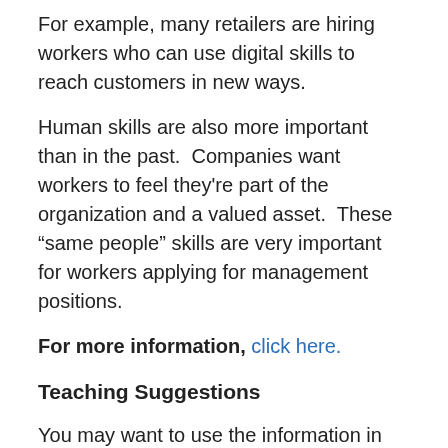For example, many retailers are hiring workers who can use digital skills to reach customers in new ways.
Human skills are also more important than in the past. Companies want workers to feel they're part of the organization and a valued asset. These “same people” skills are very important for workers applying for management positions.
For more information, click here.
Teaching Suggestions
You may want to use the information in this blog post and the original article to
Reinforce that employers want workers who have the knowledge and skills that they need, but also are willing to work hard and be a part of the organization.